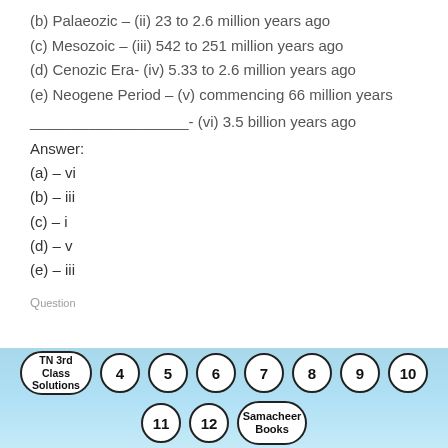(b) Palaeozic – (ii) 23 to 2.6 million years ago
(c) Mesozoic – (iii) 542 to 251 million years ago
(d) Cenozic Era- (iv) 5.33 to 2.6 million years ago
(e) Neogene Period – (v) commencing 66 million years
___________________- (vi) 3.5 billion years ago
Answer:
(a) – vi
(b) – iii
(c) – i
(d) – v
(e) – iii
[Figure (infographic): Footer navigation bar with circular buttons: TN 3rd Class Solutions, 4, 5, 6, 7, 8, 9, 10, 11, 12, Samacheer Books on a light blue background]